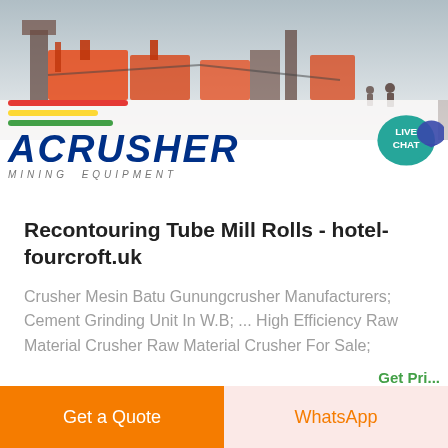[Figure (photo): ACRUSHER Mining Equipment banner with photo of industrial mining/crushing machinery in background, company logo with red/yellow/green stripes, bold blue italic ACRUSHER text, and a teal LIVE CHAT speech bubble icon in top right.]
Recontouring Tube Mill Rolls - hotel-fourcroft.uk
Crusher Mesin Batu Gunungcrusher Manufacturers; Cement Grinding Unit In W.B; ... High Efficiency Raw Material Crusher Raw Material Crusher For Sale;
Get a Quote
WhatsApp